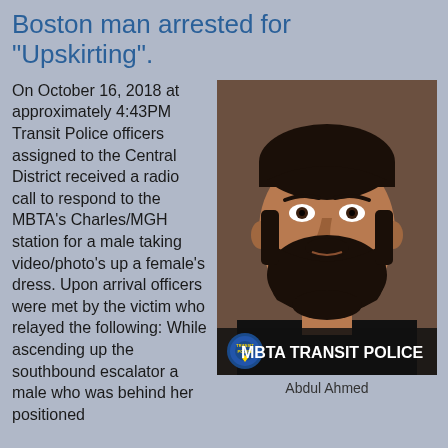Boston man arrested for "Upskirting".
On October 16, 2018 at approximately 4:43PM Transit Police officers assigned to the Central District received a radio call to respond to the MBTA's Charles/MGH station for a male taking video/photo's up a female's dress. Upon arrival officers were met by the victim who relayed the following: While ascending up the southbound escalator a male who was behind her positioned
[Figure (photo): Mugshot of Abdul Ahmed with MBTA Transit Police watermark/badge overlay at the bottom]
Abdul Ahmed